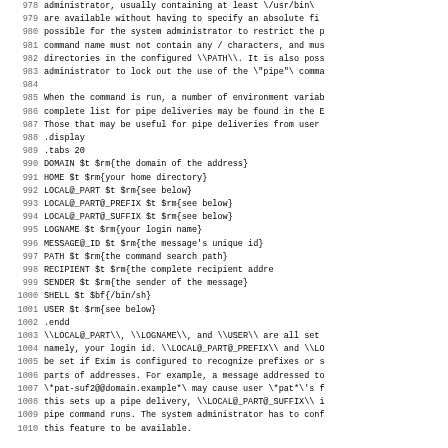Lines 978-1010 of a technical documentation page showing Exim mail server pipe delivery configuration, environment variables, and related text.